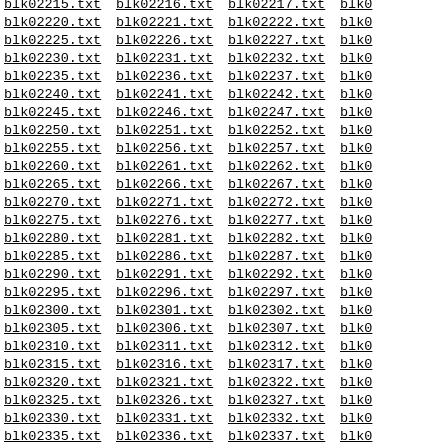blk02215.txt blk02216.txt blk02217.txt blk02218.txt blk02219.txt blk02220.txt blk02221.txt blk02222.txt blk02223.txt blk02224.txt blk02225.txt blk02226.txt blk02227.txt blk02228.txt blk02229.txt blk02230.txt blk02231.txt blk02232.txt blk02233.txt blk02234.txt blk02235.txt blk02236.txt blk02237.txt blk02238.txt blk02239.txt blk02240.txt blk02241.txt blk02242.txt blk02243.txt blk02244.txt blk02245.txt blk02246.txt blk02247.txt blk02248.txt blk02249.txt blk02250.txt blk02251.txt blk02252.txt blk02253.txt blk02254.txt blk02255.txt blk02256.txt blk02257.txt blk02258.txt blk02259.txt blk02260.txt blk02261.txt blk02262.txt blk02263.txt blk02264.txt blk02265.txt blk02266.txt blk02267.txt blk02268.txt blk02269.txt blk02270.txt blk02271.txt blk02272.txt blk02273.txt blk02274.txt blk02275.txt blk02276.txt blk02277.txt blk02278.txt blk02279.txt blk02280.txt blk02281.txt blk02282.txt blk02283.txt blk02284.txt blk02285.txt blk02286.txt blk02287.txt blk02288.txt blk02289.txt blk02290.txt blk02291.txt blk02292.txt blk02293.txt blk02294.txt blk02295.txt blk02296.txt blk02297.txt blk02298.txt blk02299.txt blk02300.txt blk02301.txt blk02302.txt blk02303.txt blk02304.txt blk02305.txt blk02306.txt blk02307.txt blk02308.txt blk02309.txt blk02310.txt blk02311.txt blk02312.txt blk02313.txt blk02314.txt blk02315.txt blk02316.txt blk02317.txt blk02318.txt blk02319.txt blk02320.txt blk02321.txt blk02322.txt blk02323.txt blk02324.txt blk02325.txt blk02326.txt blk02327.txt blk02328.txt blk02329.txt blk02330.txt blk02331.txt blk02332.txt blk02333.txt blk02334.txt blk02335.txt blk02336.txt blk02337.txt blk02338.txt blk02339.txt blk02340.txt blk02341.txt blk02342.txt blk02343.txt